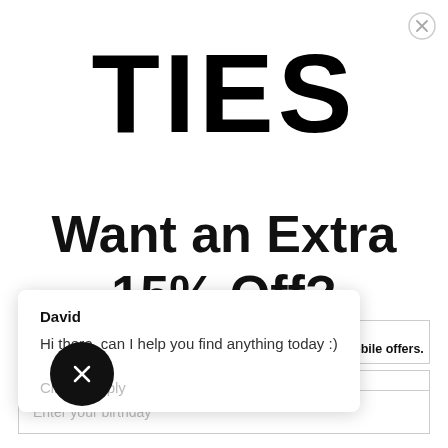[Figure (logo): Close/X button in top right corner]
TIES
Want an Extra 15% Off?
[Figure (screenshot): Live chat widget overlay with agent David saying 'Hi there, can I help you find anything today :)' and a 'Click to reply' input area]
Signup for exclusive mobile offers. Not required.
Enter your birthday